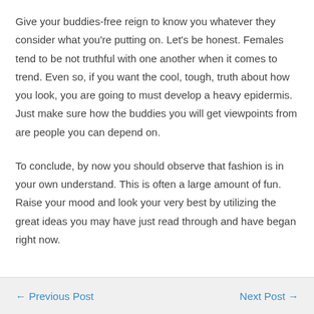Give your buddies-free reign to know you whatever they consider what you're putting on. Let's be honest. Females tend to be not truthful with one another when it comes to trend. Even so, if you want the cool, tough, truth about how you look, you are going to must develop a heavy epidermis. Just make sure how the buddies you will get viewpoints from are people you can depend on.
To conclude, by now you should observe that fashion is in your own understand. This is often a large amount of fun. Raise your mood and look your very best by utilizing the great ideas you may have just read through and have began right now.
← Previous Post
Next Post →
slot88